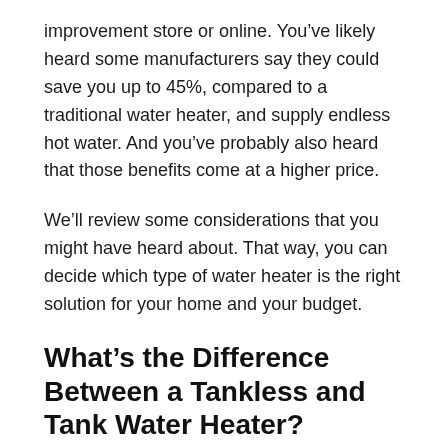improvement store or online. You've likely heard some manufacturers say they could save you up to 45%, compared to a traditional water heater, and supply endless hot water. And you've probably also heard that those benefits come at a higher price.
We'll review some considerations that you might have heard about. That way, you can decide which type of water heater is the right solution for your home and your budget.
What's the Difference Between a Tankless and Tank Water Heater?
Tankless Water Heaters